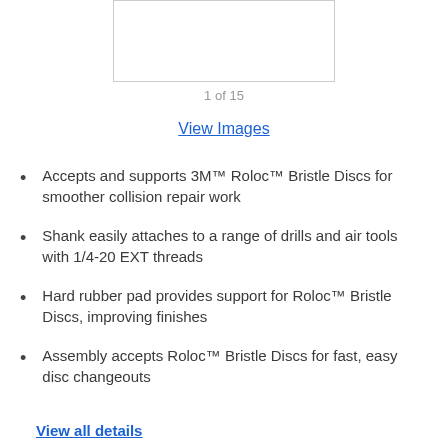[Figure (photo): Product image placeholder box, white with gray border]
1 of 15
View Images
Accepts and supports 3M™ Roloc™ Bristle Discs for smoother collision repair work
Shank easily attaches to a range of drills and air tools with 1/4-20 EXT threads
Hard rubber pad provides support for Roloc™ Bristle Discs, improving finishes
Assembly accepts Roloc™ Bristle Discs for fast, easy disc changeouts
View all details